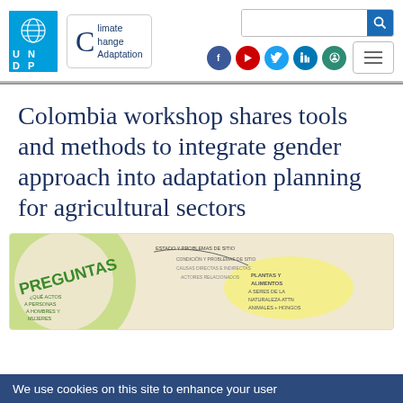UNDP Climate Change Adaptation
Colombia workshop shares tools and methods to integrate gender approach into adaptation planning for agricultural sectors
[Figure (photo): Workshop materials showing a circular diagram with Spanish text including 'PREGUNTAS' and questions about problems, men and women, plants and animals.]
We use cookies on this site to enhance your user